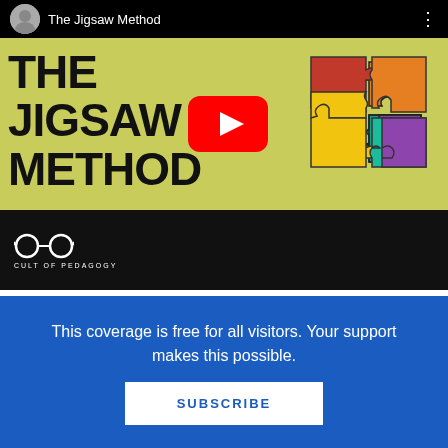[Figure (screenshot): YouTube video thumbnail for 'The Jigsaw Method' by Cult of Pedagogy. Green background with bold text 'THE JIGSAW METHOD', a red YouTube play button in the center, and a colorful jigsaw puzzle graphic on the right. Top bar shows channel avatar and title. Bottom black bar shows the Cult of Pedagogy logo.]
2. The K20 Center at the University of Oklahoma offers a K20 YouTube Channel. The Center's goal
This coverage is free for all visitors. Your support makes this possible.
SUBSCRIBE